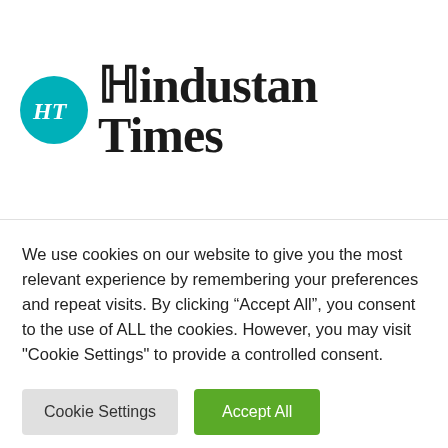[Figure (logo): Hindustan Times logo: teal circular HT monogram beside blackletter 'Hindustan Times' wordmark]
We use cookies on our website to give you the most relevant experience by remembering your preferences and repeat visits. By clicking “Accept All”, you consent to the use of ALL the cookies. However, you may visit "Cookie Settings" to provide a controlled consent.
Cookie Settings | Accept All